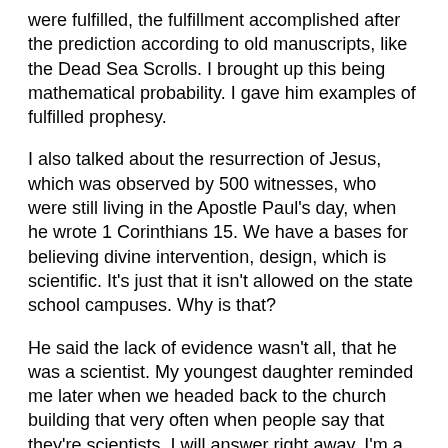were fulfilled, the fulfillment accomplished after the prediction according to old manuscripts, like the Dead Sea Scrolls.  I brought up this being mathematical probability.  I gave him examples of fulfilled prophesy.
I also talked about the resurrection of Jesus, which was observed by 500 witnesses, who were still living in the Apostle Paul's day, when he wrote 1 Corinthians 15.  We have a bases for believing divine intervention, design, which is scientific.  It's just that it isn't allowed on the state school campuses.  Why is that?
He said the lack of evidence wasn't all, that he was a scientist.  My youngest daughter reminded me later when we headed back to the church building that very often when people say that they're scientists, I will answer right away, I'm a scientist too, and I do.  Actually, I think I'm one, but those saying they are scientists are in fact not.  He then said that today Roman Catholicism is at least evolutionist, but some kinds of Christians are anti-science.  I told him Christianity wasn't anti-science, that even the founders of modern science were almost all Christians and that